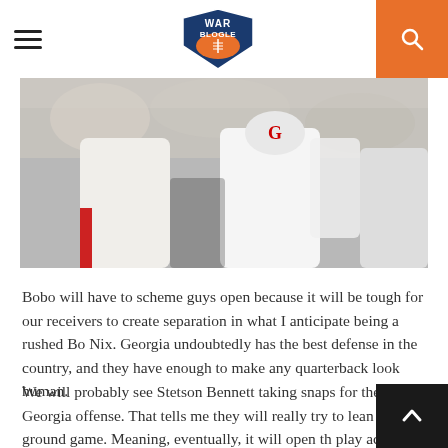War Blogle
[Figure (photo): Football players in white uniforms running on field with crowd in background]
Bobo will have to scheme guys open because it will be tough for our receivers to create separation in what I anticipate being a rushed Bo Nix. Georgia undoubtedly has the best defense in the country, and they have enough to make any quarterback look human.
We will probably see Stetson Bennett taking snaps for the Georgia offense. That tells me they will really try to lean on the ground game. Meaning, eventually, it will open the play action to that gosh darn tight end that we seem to struggle to cover. The Dawgs have more talent at about